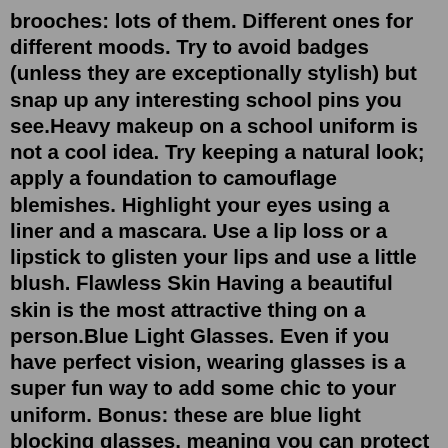brooches: lots of them. Different ones for different moods. Try to avoid badges (unless they are exceptionally stylish) but snap up any interesting school pins you see.Heavy makeup on a school uniform is not a cool idea. Try keeping a natural look; apply a foundation to camouflage blemishes. Highlight your eyes using a liner and a mascara. Use a lip loss or a lipstick to glisten your lips and use a little blush. Flawless Skin Having a beautiful skin is the most attractive thing on a person.Blue Light Glasses. Even if you have perfect vision, wearing glasses is a super fun way to add some chic to your uniform. Bonus: these are blue light blocking glasses, meaning you can protect your eyes *and* look stylish at the same time. Walmart, $9.About Press Copyright Contact us Creators Advertise Developers Terms Privacy Policy & Safety How YouTube works Test new features Press Copyright Contact us Creators ... 14 Vietnam - The Graceful Angels. The white áo dài is the traditional uniform for Vietnamese girls,